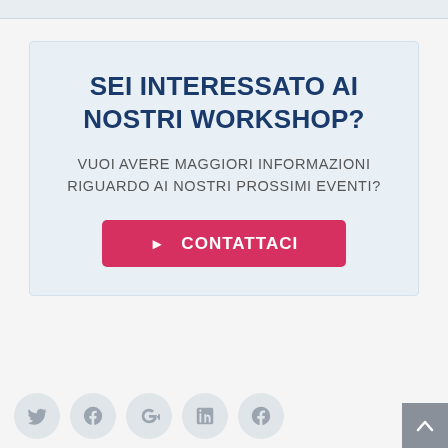SEI INTERESSATO AI NOSTRI WORKSHOP?
VUOI AVERE MAGGIORI INFORMAZIONI RIGUARDO AI NOSTRI PROSSIMI EVENTI?
CONTATTACI
[Figure (infographic): Social media icons (Twitter, Facebook, Google+, LinkedIn, and one more) shown as circles at the bottom of the page, plus a grey scroll-to-top button in the bottom right.]